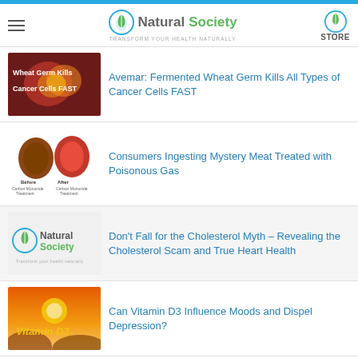Natural Society — Transform your health naturally
Avemar: Fermented Wheat Germ Kills All Types of Cancer Cells FAST
Consumers Ingesting Mystery Meat Treated with Poisonous Gas
Don't Fall for the Cholesterol Myth – Revealing the Cholesterol Scam and True Heart Health
Can Vitamin D3 Influence Moods and Dispel Depression?